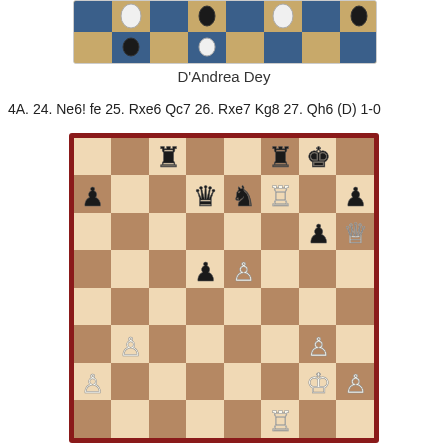[Figure (photo): Partial view of a chess board from above with white and black pieces, blue squares visible]
D'Andrea Dey
4A. 24. Ne6! fe 25. Rxe6 Qc7 26. Rxe7 Kg8 27. Qh6 (D) 1-0
[Figure (illustration): Chess board diagram showing position after moves: black rooks on c8 and f8, black king on g8, black queen on e6, black knight on e5, black pawns on a5 and h5, black pawn on g4, black pawn on d4, white rook on f6, white queen on h5, white pawns on b3 and g3, white pawn on a2, white king on g2, white rook on f1]